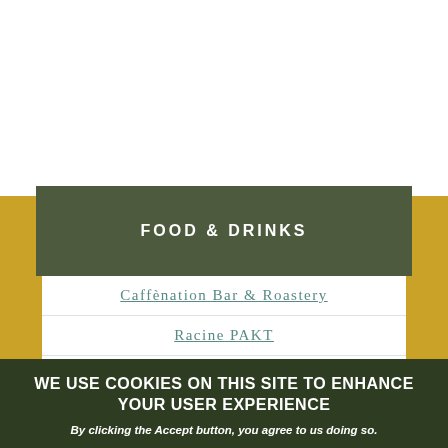FOOD & DRINKS
Caffènation Bar & Roastery
Racine PAKT
Standard Pizzeria
Spéciale Belge Taproom
WE USE COOKIES ON THIS SITE TO ENHANCE YOUR USER EXPERIENCE
By clicking the Accept button, you agree to us doing so.